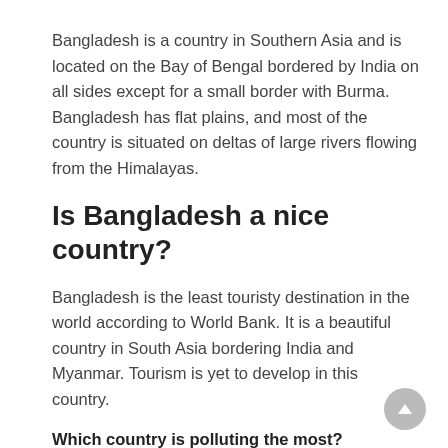Bangladesh is a country in Southern Asia and is located on the Bay of Bengal bordered by India on all sides except for a small border with Burma. Bangladesh has flat plains, and most of the country is situated on deltas of large rivers flowing from the Himalayas.
Is Bangladesh a nice country?
Bangladesh is the least touristy destination in the world according to World Bank. It is a beautiful country in South Asia bordering India and Myanmar. Tourism is yet to develop in this country.
Which country is polluting the most?
China